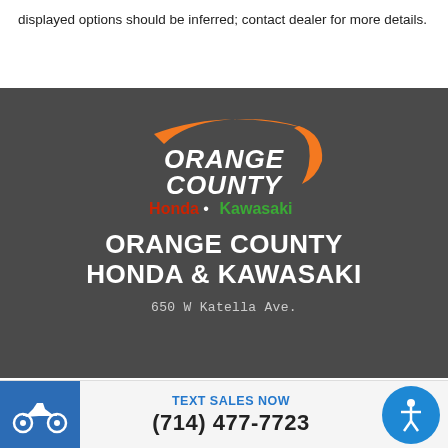displayed options should be inferred; contact dealer for more details.
[Figure (logo): Orange County Honda & Kawasaki dealership logo with orange swoosh graphic, white bold text 'ORANGE COUNTY', red 'Honda' and green 'Kawasaki' text with bullet separator]
ORANGE COUNTY HONDA & KAWASAKI
650 W Katella Ave.
TEXT SALES NOW (714) 477-7723